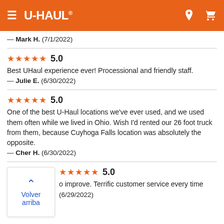U-HAUL
— Mark H.  (7/1/2022)
★★★★★ 5.0
Best UHaul experience ever! Processional and friendly staff.
— Julie E.  (6/30/2022)
★★★★★ 5.0
One of the best U-Haul locations we've ever used, and we used them often while we lived in Ohio. Wish I'd rented our 26 foot truck from them, because Cuyhoga Falls location was absolutely the opposite.
— Cher H.  (6/30/2022)
★★★★★ 5.0
…o improve. Terrific customer service every time
(6/29/2022)